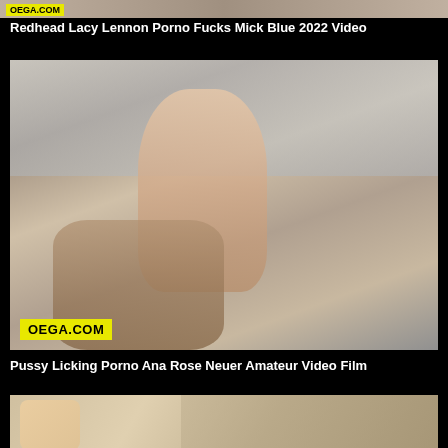[Figure (photo): Partial thumbnail at top of page with OEGA.COM watermark]
Redhead Lacy Lennon Porno Fucks Mick Blue 2022 Video
[Figure (photo): Main thumbnail image with OEGA.COM watermark in lower left]
Pussy Licking Porno Ana Rose Neuer Amateur Video Film
[Figure (photo): Partial thumbnail at bottom of page]